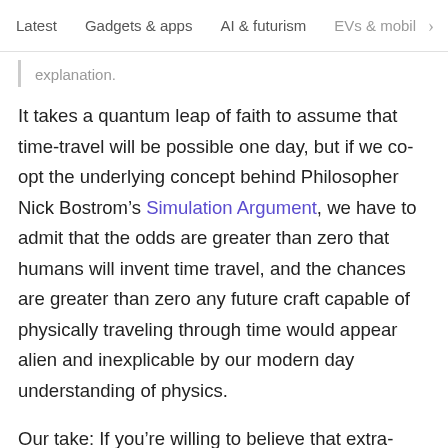Latest   Gadgets & apps   AI & futurism   EVs & mobil >
explanation.
It takes a quantum leap of faith to assume that time-travel will be possible one day, but if we co-opt the underlying concept behind Philosopher Nick Bostrom's Simulation Argument, we have to admit that the odds are greater than zero that humans will invent time travel, and the chances are greater than zero any future craft capable of physically traveling through time would appear alien and inexplicable by our modern day understanding of physics.
Our take: If you're willing to believe that extra-terrestrials built the pyramids, it's certainly no further of a leap to accept that UFOs are time-travelers from the future who only managed to be